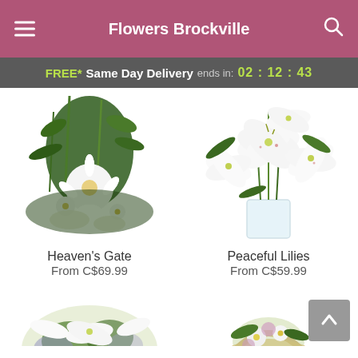Flowers Brockville
FREE* Same Day Delivery ends in: 02 : 12 : 43
[Figure (photo): Floral arrangement Heaven's Gate — white gerbera daisies with green foliage]
Heaven's Gate
From C$69.99
[Figure (photo): Floral arrangement Peaceful Lilies — white lilies in a clear glass vase]
Peaceful Lilies
From C$59.99
[Figure (photo): Partial view of a floral arrangement with white lilies and purple flowers]
[Figure (photo): Partial view of a floral basket with mixed flowers]